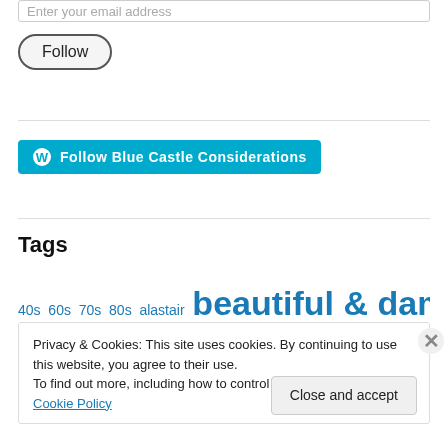Enter your email address
Follow
Follow Blue Castle Considerations
Tags
40s 60s 70s 80s alastair beautiful & damned beauty &
Privacy & Cookies: This site uses cookies. By continuing to use this website, you agree to their use. To find out more, including how to control cookies, see here: Cookie Policy
Close and accept